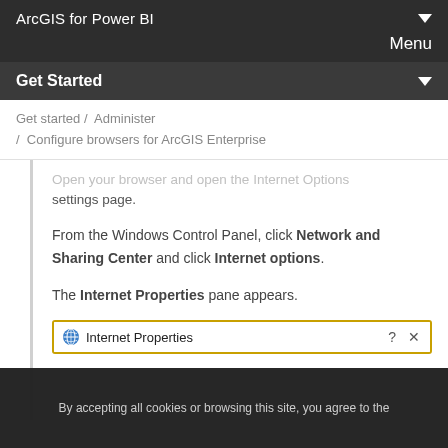ArcGIS for Power BI
Menu
Get Started
Get started / Administer / Configure browsers for ArcGIS Enterprise
Open your browser and open the Internet Options settings page.
From the Windows Control Panel, click Network and Sharing Center and click Internet options.
The Internet Properties pane appears.
[Figure (screenshot): Internet Properties dialog box title bar with globe icon, question mark and X close button]
By accepting all cookies or browsing this site, you agree to the